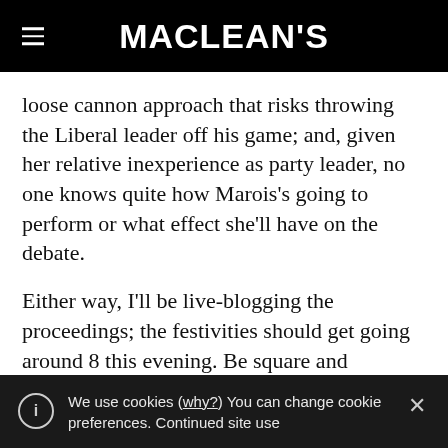MACLEAN'S
loose cannon approach that risks throwing the Liberal leader off his game; and, given her relative inexperience as party leader, no one knows quite how Marois's going to perform or what effect she'll have on the debate.
Either way, I'll be live-blogging the proceedings; the festivities should get going around 8 this evening. Be square and
We use cookies (why?) You can change cookie preferences. Continued site use